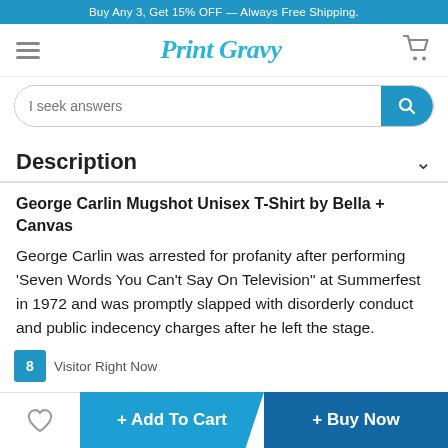Buy Any 3, Get 15% OFF — Always Free Shipping.
[Figure (screenshot): Print Gravy logo with hamburger menu and cart icon navigation bar]
I seek answers
Description
George Carlin Mugshot Unisex T-Shirt by Bella + Canvas
George Carlin was arrested for profanity after performing 'Seven Words You Can't Say On Television" at Summerfest in 1972 and was promptly slapped with disorderly conduct and public indecency charges after he left the stage.
8 Visitor Right Now